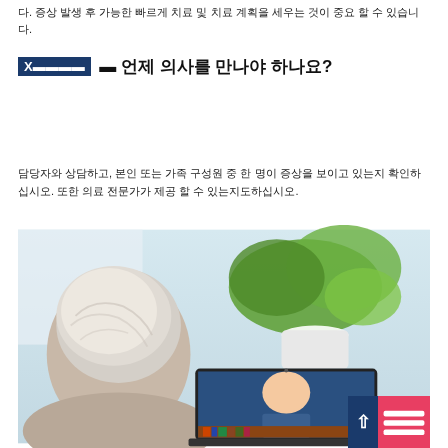다. 증상 발생 후 가능한 빠르게 치료 및 치료 계획을 세우는 것이 중요 할 수 있습니다.
언제 의사를 만나야 하나요?
담당자와 상담하고, 본인 또는 가족 구성원 중 한 명이 증상을 보이고 있는지 확인하십시오. 또한 의료 전문가가 제공 할 수 있는지도하십시오.
[Figure (photo): An elderly person with white hair viewed from behind, sitting in front of a laptop screen showing a video call with a doctor. Green plants in background, bright room setting. UI overlay badges in lower right corner.]